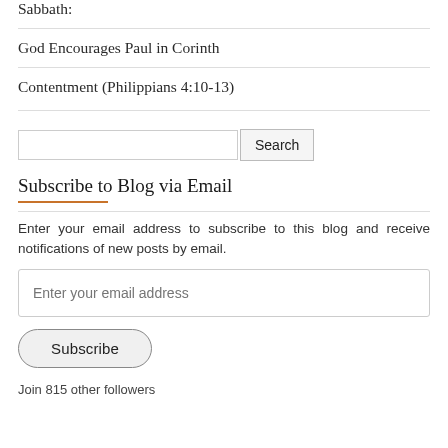Sabbath:
God Encourages Paul in Corinth
Contentment (Philippians 4:10-13)
Subscribe to Blog via Email
Enter your email address to subscribe to this blog and receive notifications of new posts by email.
Enter your email address
Subscribe
Join 815 other followers